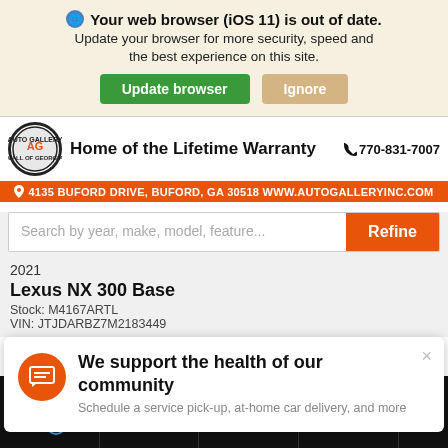Your web browser (iOS 11) is out of date. Update your browser for more security, speed and the best experience on this site.
[Figure (screenshot): Auto Gallery Mall of Georgia dealer banner with logo, tagline 'Home of the Lifetime Warranty', phone 770-831-7007, and address 4135 Buford Drive, Buford, GA 30518 www.autogalleryinc.com]
Search by year, make, model, feature...
2021
Lexus NX 300 Base
Stock: M4167ARTL
VIN: JTJDARBZ7M2183449
We support the health of our community
Schedule a service pick-up, at-home car delivery, and more
Contact Us | Eprice | Trade-in | Call Us